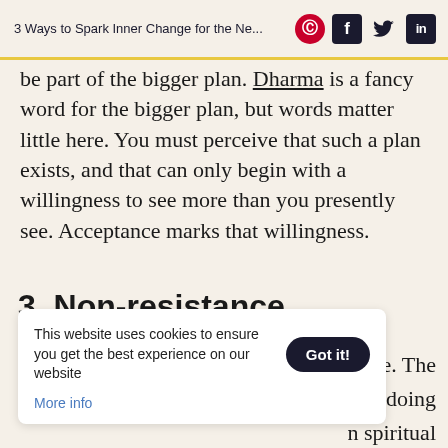3 Ways to Spark Inner Change for the Ne...
be part of the bigger plan. Dharma is a fancy word for the bigger plan, but words matter little here. You must perceive that such a plan exists, and that can only begin with a willingness to see more than you presently see. Acceptance marks that willingness.
3. Non-resistance
This website uses cookies to ensure you get the best experience on our website
More info
n obstacle. The er way of doing n spiritual w element is reason, and